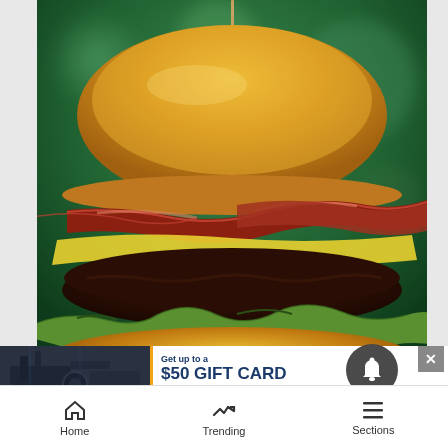[Figure (photo): Close-up photo of a large gourmet burger with bacon, melted cheese, lettuce, and a brioche bun with a toothpick, on a blurred green bokeh background. Text overlay at bottom reads 'FAVORITE FLAVORS' in white block letters.]
[Figure (screenshot): Advertisement banner: left side shows a dark image of industrial machinery/film set scene. Right side white panel with orange left border reads 'Get up to a $50 GIFT CARD Join with code: GIFTCARD Membership terms and conditions apply']
Home   Trending   Sections